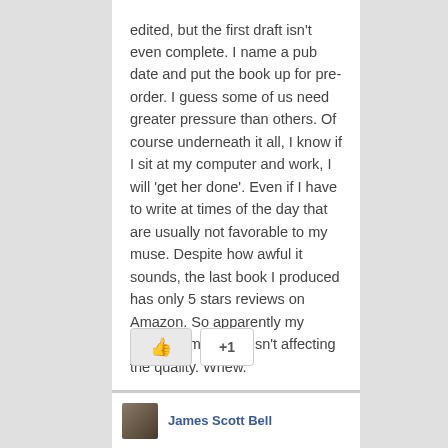edited, but the first draft isn't even complete. I name a pub date and put the book up for pre-order. I guess some of us need greater pressure than others. Of course underneath it all, I know if I sit at my computer and work, I will 'get her done'. Even if I have to write at times of the day that are usually not favorable to my muse. Despite how awful it sounds, the last book I produced has only 5 stars reviews on Amazon. So apparently my midnight madness isn't affecting the quality. Whew.
[Figure (other): A like/thumbs-up button and a +1 button side by side]
James Scott Bell